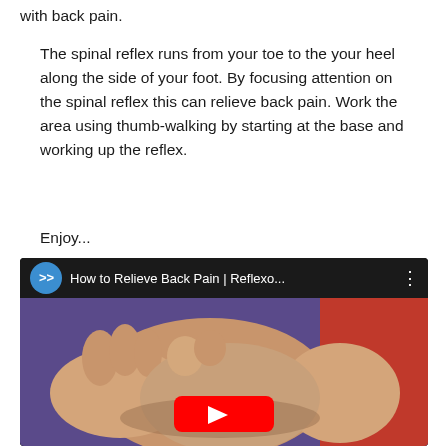with back pain.
The spinal reflex runs from your toe to the your heel along the side of your foot. By focusing attention on the spinal reflex this can relieve back pain. Work the area using thumb-walking by starting at the base and working up the reflex.
Enjoy...
[Figure (screenshot): YouTube video embed showing 'How to Relieve Back Pain | Reflexo...' with a thumbnail image of hands performing reflexology on a foot, featuring a red YouTube play button in the lower center.]